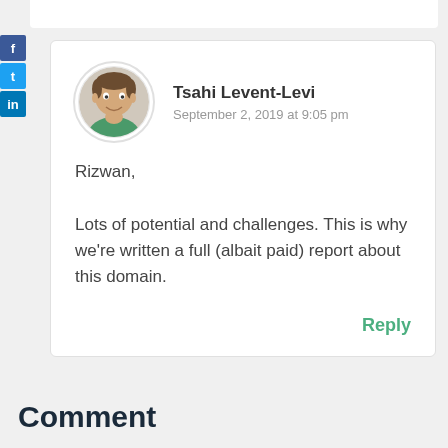[Figure (photo): Avatar/profile photo of Tsahi Levent-Levi, a man with short hair wearing a green shirt, circular crop]
Tsahi Levent-Levi
September 2, 2019 at 9:05 pm
Rizwan,

Lots of potential and challenges. This is why we’re written a full (albait paid) report about this domain.
Reply
Comment